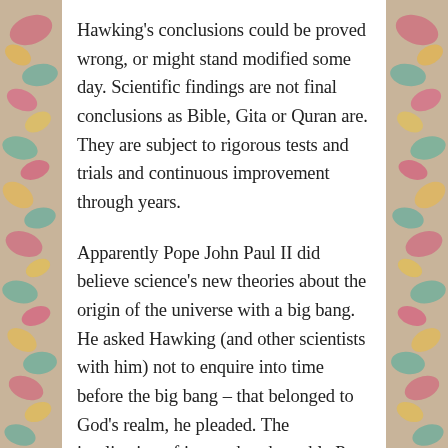Hawking's conclusions could be proved wrong, or might stand modified some day. Scientific findings are not final conclusions as Bible, Gita or Quran are. They are subject to rigorous tests and trials and continuous improvement through years.
Apparently Pope John Paul II did believe science's new theories about the origin of the universe with a big bang. He asked Hawking (and other scientists with him) not to enquire into time before the big bang – that belonged to God's realm, he pleaded. The implication of it was that the noble Pope conceded that science works and that